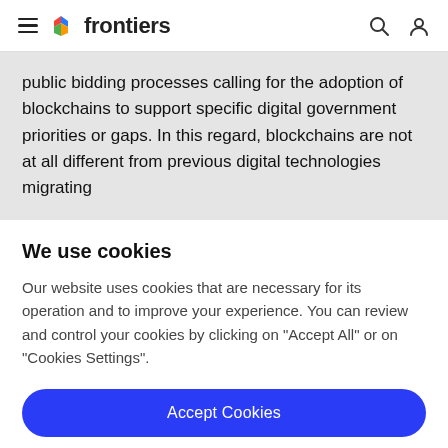frontiers
public bidding processes calling for the adoption of blockchains to support specific digital government priorities or gaps. In this regard, blockchains are not at all different from previous digital technologies migrating
We use cookies
Our website uses cookies that are necessary for its operation and to improve your experience. You can review and control your cookies by clicking on "Accept All" or on "Cookies Settings".
Accept Cookies
Cookies Settings